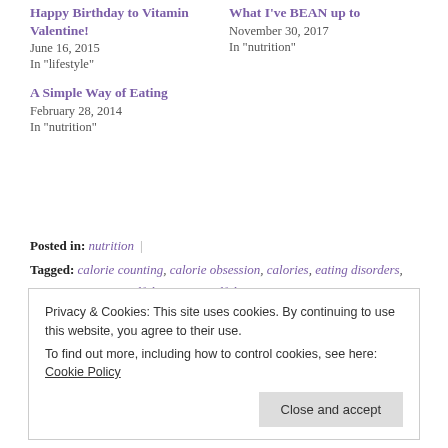Happy Birthday to Vitamin Valentine! — June 16, 2015 — In "lifestyle"
What I've BEAN up to — November 30, 2017 — In "nutrition"
A Simple Way of Eating — February 28, 2014 — In "nutrition"
Posted in: nutrition | Tagged: calorie counting, calorie obsession, calories, eating disorders, intuitive eating, mindful eating, mindfulness, nutrition
Privacy & Cookies: This site uses cookies. By continuing to use this website, you agree to their use. To find out more, including how to control cookies, see here: Cookie Policy — Close and accept